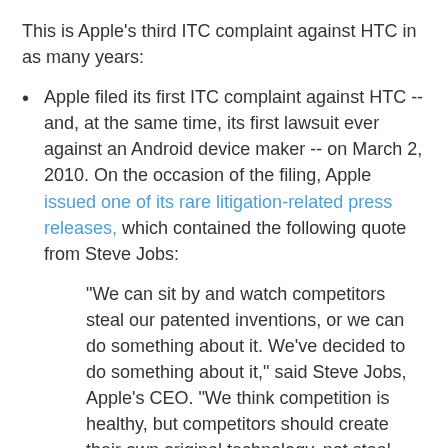This is Apple's third ITC complaint against HTC in as many years:
Apple filed its first ITC complaint against HTC -- and, at the same time, its first lawsuit ever against an Android device maker -- on March 2, 2010. On the occasion of the filing, Apple issued one of its rare litigation-related press releases, which contained the following quote from Steve Jobs:

"We can sit by and watch competitors steal our patented inventions, or we can do something about it. We've decided to do something about it," said Steve Jobs, Apple's CEO. "We think competition is healthy, but competitors should create their own original technology, not steal ours."
Apple asserted 10 patents in its ITC complaint...